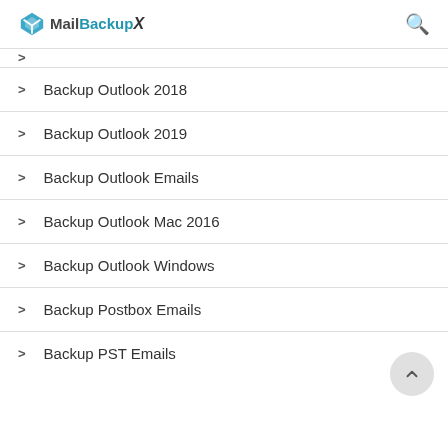MailBackupX
Backup Outlook 2018
Backup Outlook 2019
Backup Outlook Emails
Backup Outlook Mac 2016
Backup Outlook Windows
Backup Postbox Emails
Backup PST Emails